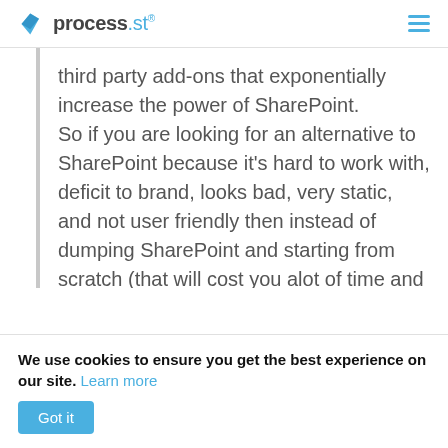process.st
third party add-ons that exponentially increase the power of SharePoint. So if you are looking for an alternative to SharePoint because it's hard to work with, deficit to brand, looks bad, very static, and not user friendly then instead of dumping SharePoint and starting from scratch (that will cost you alot of time and money) simply get this SharePoint add-on that will solve all those problems in minutes and
We use cookies to ensure you get the best experience on our site. Learn more
Got it